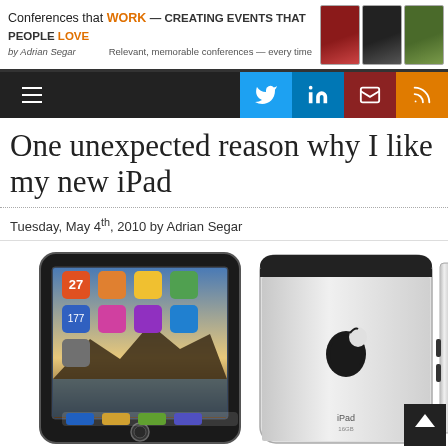Conferences that WORK — CREATING EVENTS THAT PEOPLE LOVE
by Adrian Segar
Relevant, memorable conferences — every time
One unexpected reason why I like my new iPad
Tuesday, May 4th, 2010 by Adrian Segar
[Figure (photo): Three views of the Apple iPad (first generation): front view showing home screen with app icons and wallpaper, back view showing the Apple logo and iPad branding, and side/edge view showing the slim profile.]